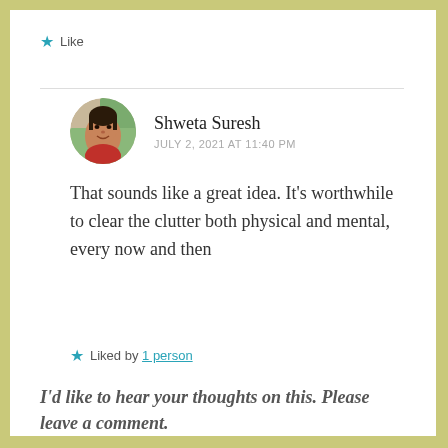★ Like
Shweta Suresh
JULY 2, 2021 AT 11:40 PM
That sounds like a great idea. It's worthwhile to clear the clutter both physical and mental, every now and then
★ Liked by 1 person
I'd like to hear your thoughts on this. Please leave a comment.